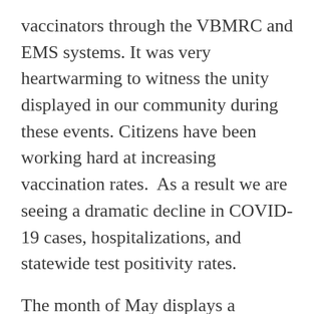vaccinators through the VBMRC and EMS systems. It was very heartwarming to witness the unity displayed in our community during these events. Citizens have been working hard at increasing vaccination rates.  As a result we are seeing a dramatic decline in COVID-19 cases, hospitalizations, and statewide test positivity rates.
The month of May displays a website showcase of our members' stories of achievements, resilience, and kindness, an ongoing theme that exemplifies nursing. Let us continue to inspire each other